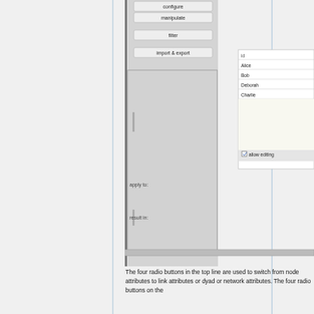[Figure (screenshot): Screenshot of a software UI panel showing buttons: 'configure' (partially visible at top), 'manipulate', 'filter', 'import & export', and a table panel on the right with column header 'id' and rows: Alice, Bob, Deborah, Charlie, plus a large empty area and an 'allow editing' checkbox. Below the table area are labels 'apply to:' and 'result in:' with empty fields.]
The four radio buttons in the top line are used to switch from node attributes to link attributes or dyad or network attributes. The four radio buttons on the